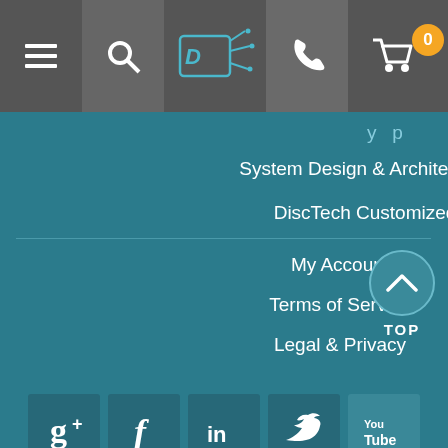[Figure (screenshot): Website navigation bar with hamburger menu, search, DiscTech logo, phone, and cart icons on dark gray background]
System Design & Architecture
DiscTech Customized
My Account
Terms of Service
Legal & Privacy
[Figure (infographic): Social media icons row: Google+, Facebook, LinkedIn, Twitter, YouTube on teal background]
Reviews From Other Customers
[Figure (logo): Shopper Approved logo with checkmark - See More Reviews badge]